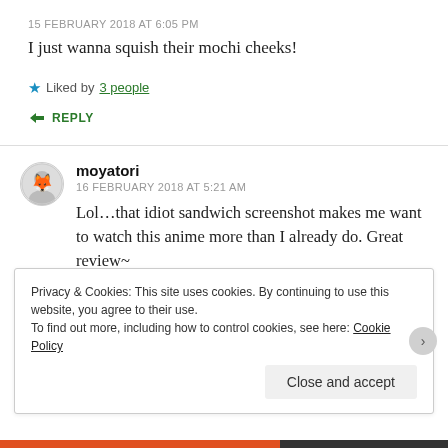15 FEBRUARY 2018 AT 6:05 PM
I just wanna squish their mochi cheeks!
Liked by 3 people
REPLY
moyatori
16 FEBRUARY 2018 AT 5:21 AM
Lol...that idiot sandwich screenshot makes me want to watch this anime more than I already do. Great review~
Privacy & Cookies: This site uses cookies. By continuing to use this website, you agree to their use. To find out more, including how to control cookies, see here: Cookie Policy
Close and accept